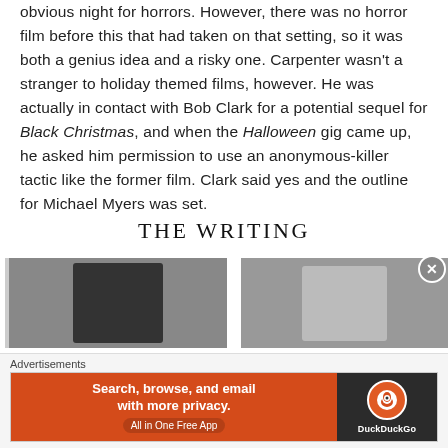obvious night for horrors. However, there was no horror film before this that had taken on that setting, so it was both a genius idea and a risky one. Carpenter wasn't a stranger to holiday themed films, however. He was actually in contact with Bob Clark for a potential sequel for Black Christmas, and when the Halloween gig came up, he asked him permission to use an anonymous-killer tactic like the former film. Clark said yes and the outline for Michael Myers was set.
THE WRITING
[Figure (photo): Black and white photo strip showing film stills, two panels separated by a white gap]
Advertisements
[Figure (screenshot): DuckDuckGo advertisement banner: 'Search, browse, and email with more privacy. All in One Free App' on orange background with DuckDuckGo logo on dark background]